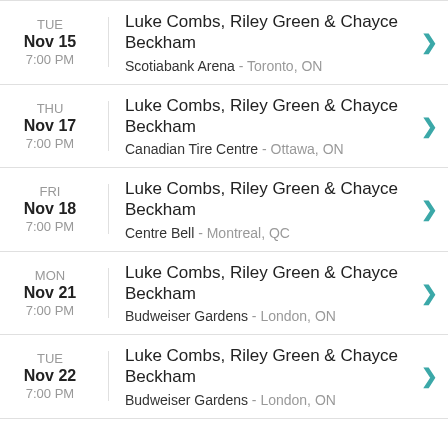TUE Nov 15 7:00 PM - Luke Combs, Riley Green & Chayce Beckham - Scotiabank Arena - Toronto, ON
THU Nov 17 7:00 PM - Luke Combs, Riley Green & Chayce Beckham - Canadian Tire Centre - Ottawa, ON
FRI Nov 18 7:00 PM - Luke Combs, Riley Green & Chayce Beckham - Centre Bell - Montreal, QC
MON Nov 21 7:00 PM - Luke Combs, Riley Green & Chayce Beckham - Budweiser Gardens - London, ON
TUE Nov 22 7:00 PM - Luke Combs, Riley Green & Chayce Beckham - Budweiser Gardens - London, ON